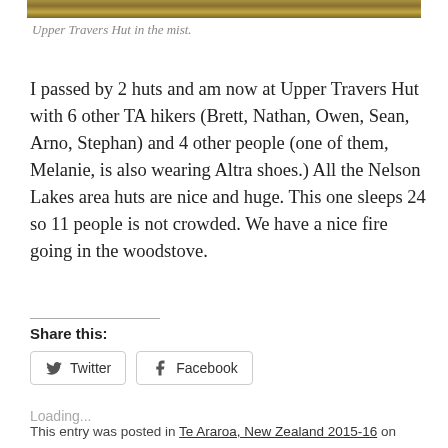[Figure (photo): Partial photo strip showing a mountain hut scene in the mist, with earthy golden-brown tones at the top of the page.]
Upper Travers Hut in the mist.
I passed by 2 huts and am now at Upper Travers Hut with 6 other TA hikers (Brett, Nathan, Owen, Sean, Arno, Stephan) and 4 other people (one of them, Melanie, is also wearing Altra shoes.) All the Nelson Lakes area huts are nice and huge. This one sleeps 24 so 11 people is not crowded. We have a nice fire going in the woodstove.
Share this:
Twitter
Facebook
Loading...
This entry was posted in Te Araroa, New Zealand 2015-16 on January 20, 2016.